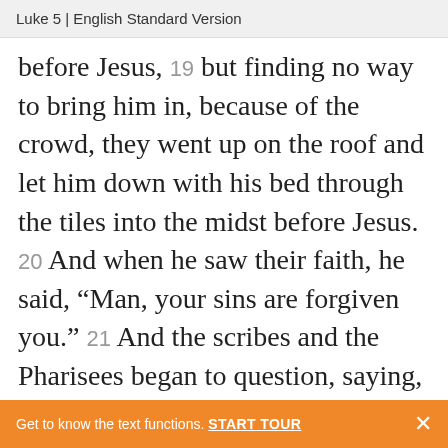Luke 5 | English Standard Version
before Jesus, 19 but finding no way to bring him in, because of the crowd, they went up on the roof and let him down with his bed through the tiles into the midst before Jesus. 20 And when he saw their faith, he said, “Man, your sins are forgiven you.” 21 And the scribes and the Pharisees began to question, saying, “Who is this who speaks blasphemies?
Get to know the text functions. START TOUR